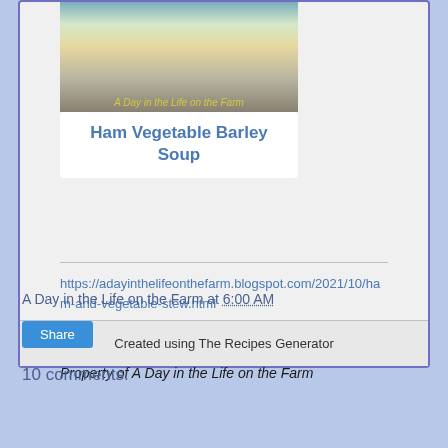[Figure (photo): Photo of a bowl of Ham Vegetable Barley Soup with text overlay reading 'A Day in the Life on the Farm']
Ham Vegetable Barley Soup
https://adayinthelifeonthefarm.blogspot.com/2021/10/ham-and-vegetable-stew.html
Property of A Day in the Life on the Farm
Created using The Recipes Generator
A Day in the Life on the Farm at 6:00 AM
Share
10 comments: